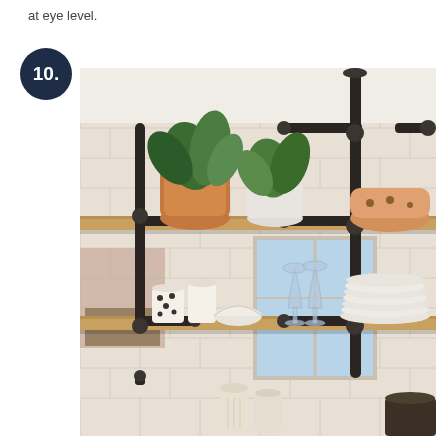at eye level.
[Figure (photo): Kitchen open shelving with black iron pipe brackets mounted on white subway tile wall. Two wooden shelves hold plants, bowls, mugs, stacked plates, and decorative items. Number badge '10.' overlays the top-left corner.]